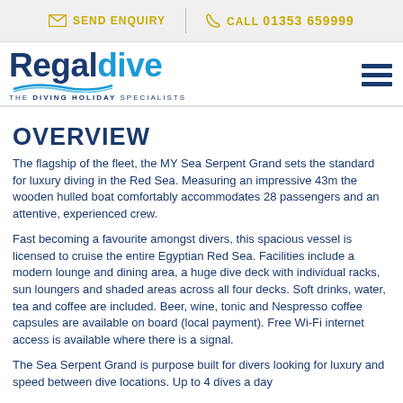SEND ENQUIRY   CALL 01353 659999
[Figure (logo): Regaldive logo with wave graphic and tagline 'THE DIVING HOLIDAY SPECIALISTS']
OVERVIEW
The flagship of the fleet, the MY Sea Serpent Grand sets the standard for luxury diving in the Red Sea. Measuring an impressive 43m the wooden hulled boat comfortably accommodates 28 passengers and an attentive, experienced crew.
Fast becoming a favourite amongst divers, this spacious vessel is licensed to cruise the entire Egyptian Red Sea. Facilities include a modern lounge and dining area, a huge dive deck with individual racks, sun loungers and shaded areas across all four decks. Soft drinks, water, tea and coffee are included. Beer, wine, tonic and Nespresso coffee capsules are available on board (local payment). Free Wi-Fi internet access is available where there is a signal.
The Sea Serpent Grand is purpose built for divers looking for luxury and speed between dive locations. Up to 4 dives a day